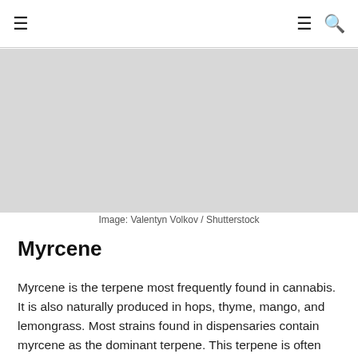☰  ☰ 🔍
[Figure (photo): Placeholder image area — grey rectangle representing a cannabis/terpene related photo]
Image: Valentyn Volkov / Shutterstock
Myrcene
Myrcene is the terpene most frequently found in cannabis. It is also naturally produced in hops, thyme, mango, and lemongrass. Most strains found in dispensaries contain myrcene as the dominant terpene. This terpene is often described as earthy and herbal. Strains like Cherry Pie, OG